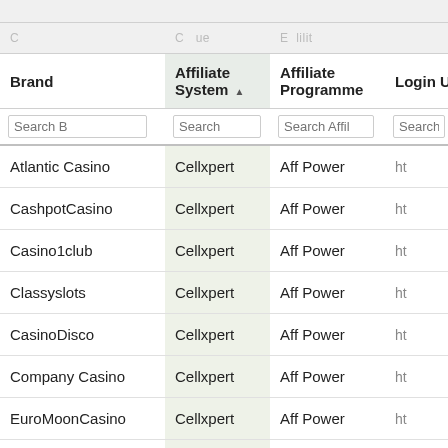| Brand | Affiliate System | Affiliate Programme | Login URL |
| --- | --- | --- | --- |
| Atlantic Casino | Cellxpert | Aff Power | ht |
| CashpotCasino | Cellxpert | Aff Power | ht |
| Casino1club | Cellxpert | Aff Power | ht |
| Classyslots | Cellxpert | Aff Power | ht |
| CasinoDisco | Cellxpert | Aff Power | ht |
| Company Casino | Cellxpert | Aff Power | ht |
| EuroMoonCasino | Cellxpert | Aff Power | ht |
| Osiris Casino | Cellxpert | Aff Power | ht |
| ParkLaneCasino | Cellxpert | Aff Power | ht |
| Royalspinz | Cellxpert | Aff Power | ht |
| Smashing Casino | Cellxpert | Aff Power | ht |
| bCasino | Cellxpert | OhMyPartners | ht |